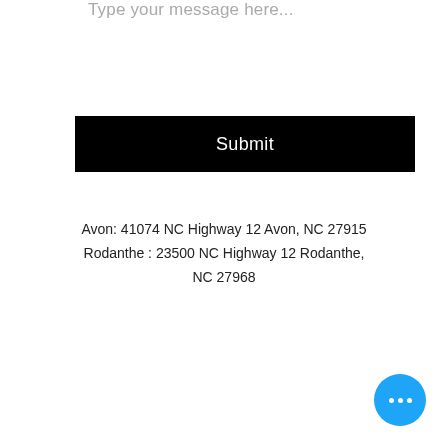Type your message here...
Submit
Avon: 41074 NC Highway 12 Avon, NC 27915
Rodanthe : 23500 NC Highway 12 Rodanthe, NC 27968
[Figure (other): Blue circular chat button with three white dots]